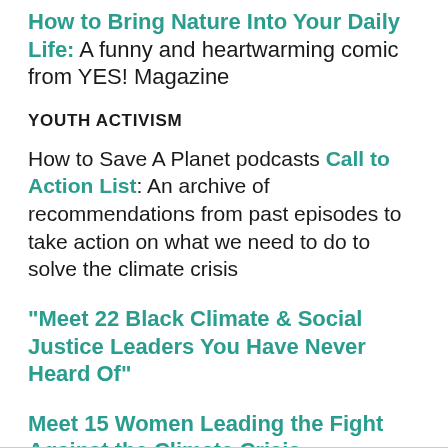How to Bring Nature Into Your Daily Life: A funny and heartwarming comic from YES! Magazine
YOUTH ACTIVISM
How to Save A Planet podcasts Call to Action List: An archive of recommendations from past episodes to take action on what we need to do to solve the climate crisis
"Meet 22 Black Climate & Social Justice Leaders You Have Never Heard Of"
Meet 15 Women Leading the Fight Against the Climate Crisis